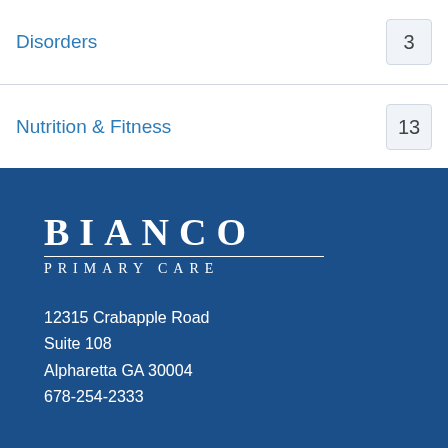Disorders  3
Nutrition & Fitness  13
[Figure (logo): Bianco Primary Care logo — large serif letters 'BIANCO' with 'PRIMARY CARE' beneath in spaced small caps, on dark blue background]
12315 Crabapple Road
Suite 108
Alpharetta GA 30004
678-254-2333